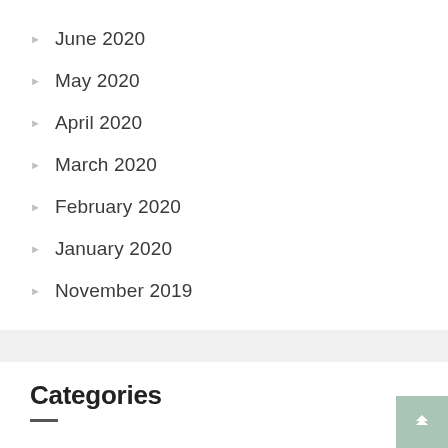June 2020
May 2020
April 2020
March 2020
February 2020
January 2020
November 2019
Categories
Adult
Betting